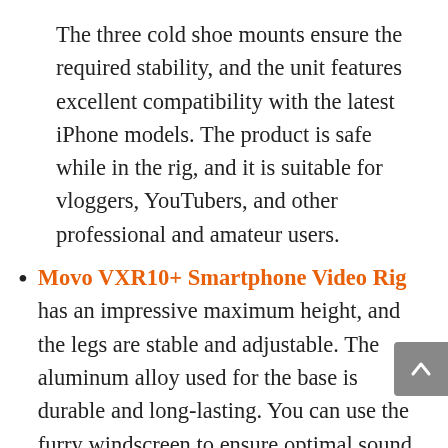The three cold shoe mounts ensure the required stability, and the unit features excellent compatibility with the latest iPhone models. The product is safe while in the rig, and it is suitable for vloggers, YouTubers, and other professional and amateur users.
Movo VXR10+ Smartphone Video Rig has an impressive maximum height, and the legs are stable and adjustable. The aluminum alloy used for the base is durable and long-lasting. You can use the furry windscreen to ensure optimal sound isolation.
Dreamgrip Evolution 2020 Pro is a long-lasting and durable product that can be a long-term investment. It has